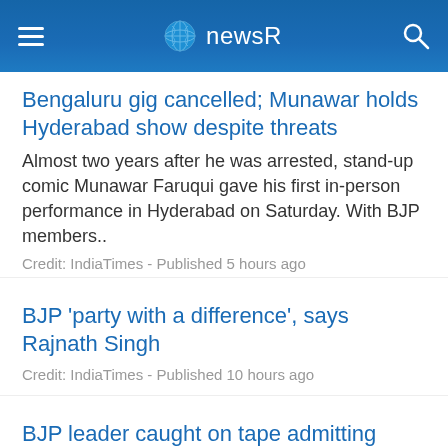newsR
Bengaluru gig cancelled; Munawar holds Hyderabad show despite threats
Almost two years after he was arrested, stand-up comic Munawar Faruqui gave his first in-person performance in Hyderabad on Saturday. With BJP members..
Credit: IndiaTimes - Published 5 hours ago
BJP 'party with a difference', says Rajnath Singh
Credit: IndiaTimes - Published 10 hours ago
BJP leader caught on tape admitting 'lynching', Congress says party's true face exposed